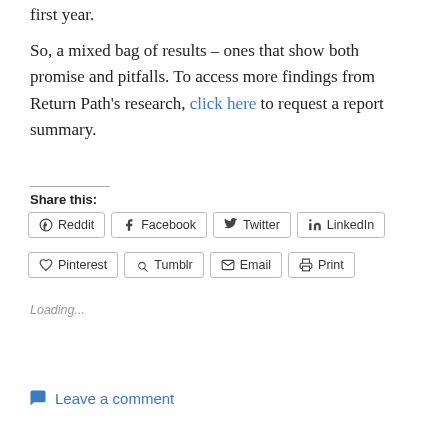first year.
So, a mixed bag of results – ones that show both promise and pitfalls. To access more findings from Return Path's research, click here to request a report summary.
Share this:
Reddit  Facebook  Twitter  LinkedIn  Pinterest  Tumblr  Email  Print
Loading...
Leave a comment